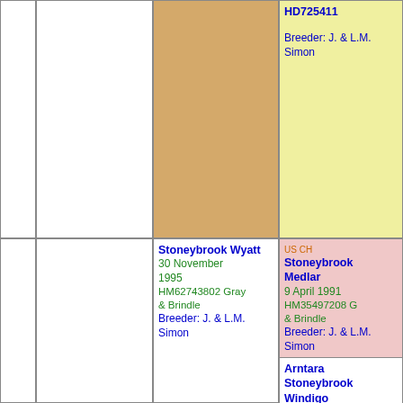[Figure (other): Pedigree chart showing dog lineage. Top-right yellow cell: HD725411, Breeder: J. & L.M. Simon. Bottom-right pink cell: US CH Stoneybrook Medlar, 9 April 1991, HM35497208 G & Brindle, Breeder: J. & L.M. Simon. Third column bottom cell: Stoneybrook Wyatt, 30 November 1995, HM62743802 Gray & Brindle, Breeder: J. & L.M. Simon. Bottom-right white cell: Arntara Stoneybrook Windigo, 30 August 1992, HM45011202 R & Brindle.]